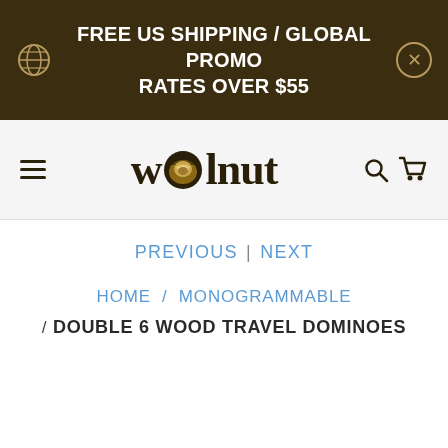FREE US SHIPPING / GLOBAL PROMO RATES OVER $55
[Figure (logo): Wolnut brand logo with walnut icon in navigation bar]
PREVIOUS | NEXT
HOME / MONOGRAMMABLE / DOUBLE 6 WOOD TRAVEL DOMINOES